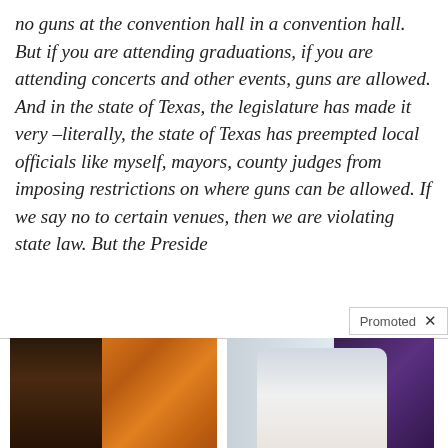no guns at the convention hall in a convention hall. But if you are attending graduations, if you are attending concerts and other events, guns are allowed. And in the state of Texas, the legislature has made it very –literally, the state of Texas has preempted local officials like myself, mayors, county judges from imposing restrictions on where guns can be allowed. If we say no to certain venues, then we are violating state law. But the Preside
[Figure (photo): Advertisement image showing a fit person's torso next to a spoonful of red spice/powder]
A Teaspoon On An Empty Stomach Burns Fat Like Crazy!
135,970
[Figure (photo): Advertisement image showing a woman on a phone next to a car with the hood open]
Vehicle Protection Plan For Every Budget